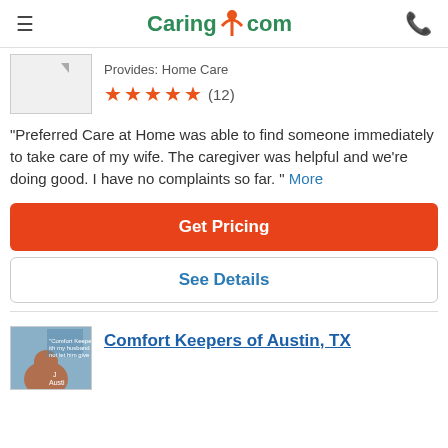Caring.com
Provides: Home Care
[Figure (other): Five orange star rating with review count (12)]
"Preferred Care at Home was able to find someone immediately to take care of my wife. The caregiver was helpful and we're doing good. I have no complaints so far. " More
Get Pricing
See Details
Comfort Keepers of Austin, TX